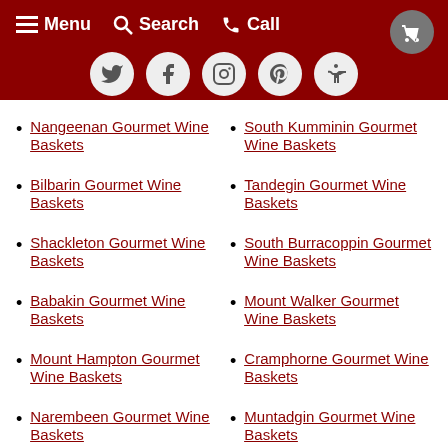Menu  Search  Call
[Figure (other): Social media icons: Twitter, Facebook, Instagram, Pinterest, Handshake]
Nangeenan Gourmet Wine Baskets
South Kumminin Gourmet Wine Baskets
Bilbarin Gourmet Wine Baskets
Tandegin Gourmet Wine Baskets
Shackleton Gourmet Wine Baskets
South Burracoppin Gourmet Wine Baskets
Babakin Gourmet Wine Baskets
Mount Walker Gourmet Wine Baskets
Mount Hampton Gourmet Wine Baskets
Cramphorne Gourmet Wine Baskets
Narembeen Gourmet Wine Baskets
Muntadgin Gourmet Wine Baskets